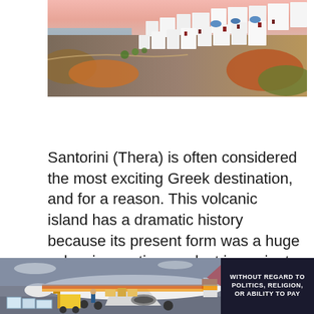[Figure (photo): Aerial view of Santorini (Oia) with white-washed buildings cascading down cliffs at sunset, pink sky, colorful vegetation]
Santorini (Thera) is often considered the most exciting Greek destination, and for a reason. This volcanic island has a dramatic history because its present form was a huge volcanic eruption product in ancient times. The island itself is full of spectacular landscapes, sharp cliffs, and amazing
[Figure (photo): Advertisement banner: cargo airplane being loaded, with text 'WITHOUT REGARD TO POLITICS, RELIGION, OR ABILITY TO PAY']